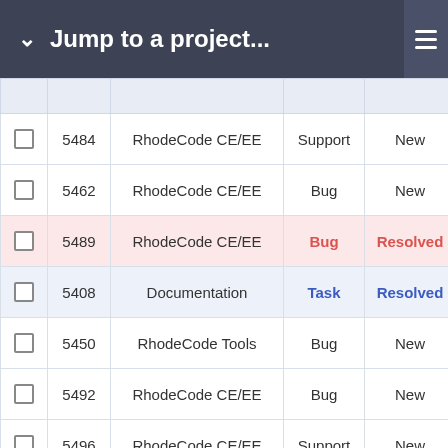Jump to a project...
|  |  | Project | Type | Status | Priority |
| --- | --- | --- | --- | --- | --- |
| ☐ | 5484 | RhodeCode CE/EE | Support | New | Normal |
| ☐ | 5462 | RhodeCode CE/EE | Bug | New | Normal |
| ☐ | 5489 | RhodeCode CE/EE | Bug | Resolved | High |
| ☐ | 5408 | Documentation | Task | Resolved | Low |
| ☐ | 5450 | RhodeCode Tools | Bug | New | Normal |
| ☐ | 5492 | RhodeCode CE/EE | Bug | New | Normal |
| ☐ | 5496 | RhodeCode CE/EE | Support | New | Normal |
| ☐ | 5461 | RhodeCode CE/EE | Bug | Resolved | Normal |